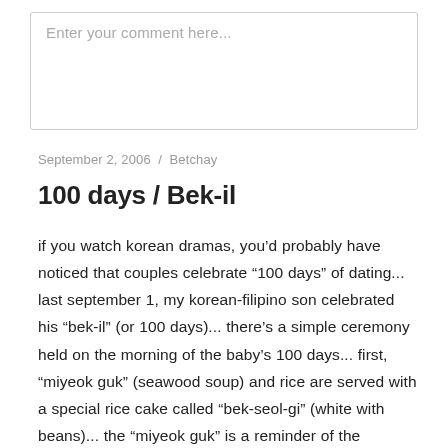Enter your comment here...
September 2, 2006  /  Betchay
100 days / Bek-il
if you watch korean dramas, you’d probably have noticed that couples celebrate “100 days” of dating... last september 1, my korean-filipino son celebrated his “bek-il” (or 100 days)... there’s a simple ceremony held on the morning of the baby’s 100 days... first, “miyeok guk” (seawood soup) and rice are served with a special rice cake called “bek-seol-gi” (white with beans)... the “miyeok guk” is a reminder of the mother’s sacrifice in childbirth and the rice cake is traditionally served in